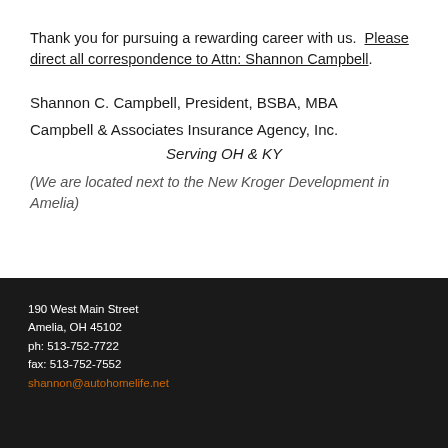Thank you for pursuing a rewarding career with us.  Please direct all correspondence to Attn: Shannon Campbell.
Shannon C. Campbell, President, BSBA, MBA
Campbell & Associates Insurance Agency, Inc.
Serving OH & KY
(We are located next to the New Kroger Development in Amelia)
190 West Main Street
Amelia, OH 45102
ph: 513-752-7722
fax: 513-752-7552
shannon@autohomelife.net